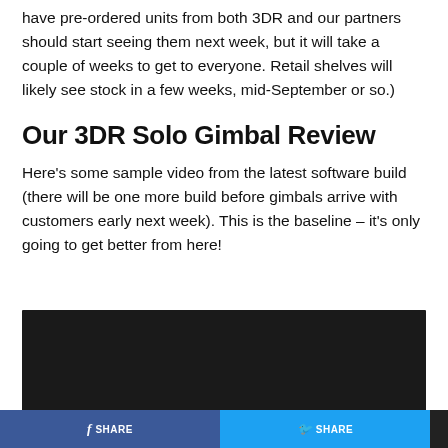have pre-ordered units from both 3DR and our partners should start seeing them next week, but it will take a couple of weeks to get to everyone. Retail shelves will likely see stock in a few weeks, mid-September or so.)
Our 3DR Solo Gimbal Review
Here's some sample video from the latest software build (there will be one more build before gimbals arrive with customers early next week). This is the baseline – it's only going to get better from here!
[Figure (other): Embedded video player with dark/black background]
SHARE | SHARE